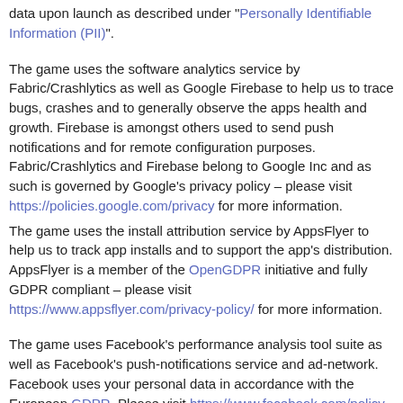data upon launch as described under "Personally Identifiable Information (PII)".
The game uses the software analytics service by Fabric/Crashlytics as well as Google Firebase to help us to trace bugs, crashes and to generally observe the apps health and growth. Firebase is amongst others used to send push notifications and for remote configuration purposes. Fabric/Crashlytics and Firebase belong to Google Inc and as such is governed by Google's privacy policy – please visit https://policies.google.com/privacy for more information.
The game uses the install attribution service by AppsFlyer to help us to track app installs and to support the app's distribution. AppsFlyer is a member of the OpenGDPR initiative and fully GDPR compliant – please visit https://www.appsflyer.com/privacy-policy/ for more information.
The game uses Facebook's performance analysis tool suite as well as Facebook's push-notifications service and ad-network. Facebook uses your personal data in accordance with the European GDPR. Please visit https://www.facebook.com/policy to learn more about Facebook's Privacy Policy.
In addition to the before mentioned services the game also uses Chartboost for app promotion and distribution analytics tool. Please...